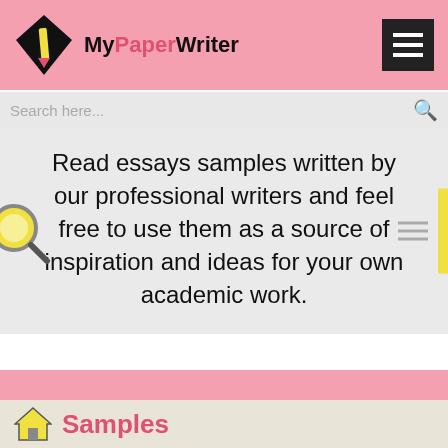[Figure (logo): MyPaperWriter logo with diamond pencil icon and site name]
Search here...
Read essays samples written by our professional writers and feel free to use them as a source of inspiration and ideas for your own academic work.
Search here..
Samples